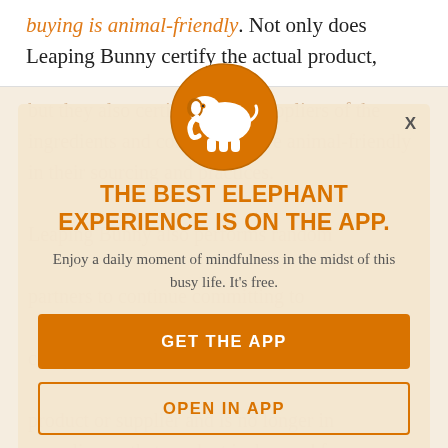buying is animal-friendly. Not only does Leaping Bunny certify the actual product,
but they also certify that the suppliers of the ingredients and components are animal-friendly in their sourcing and practices. Leaping Bunny also performs random... partners to continue committing to company is found to have changed a product or supplier and is no longer in compliance, that product is dropped from the program.
[Figure (illustration): Orange circular badge with white elephant silhouette icon]
THE BEST ELEPHANT EXPERIENCE IS ON THE APP.
Enjoy a daily moment of mindfulness in the midst of this busy life. It's free.
GET THE APP
OPEN IN APP